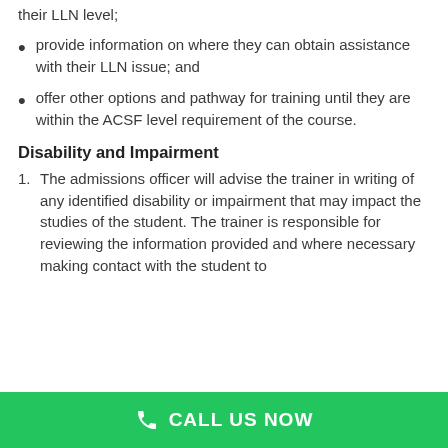their LLN level;
provide information on where they can obtain assistance with their LLN issue; and
offer other options and pathway for training until they are within the ACSF level requirement of the course.
Disability and Impairment
The admissions officer will advise the trainer in writing of any identified disability or impairment that may impact the studies of the student. The trainer is responsible for reviewing the information provided and where necessary making contact with the student to
CALL US NOW